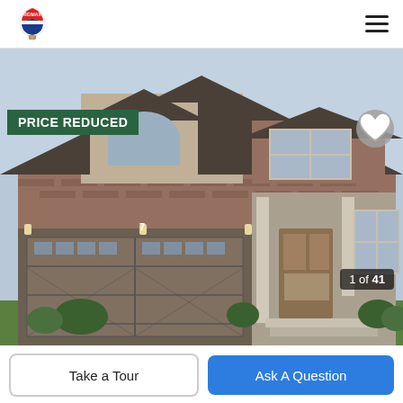[Figure (logo): RE/MAX logo with hot air balloon in red, white, and blue]
[Figure (photo): Exterior photo of a two-storey suburban house with brick and stucco facade, double garage door, covered front porch, multiple windows; a street lamp visible on the right side; green lawn in front]
PRICE REDUCED
1 of 41
Take a Tour
Ask A Question